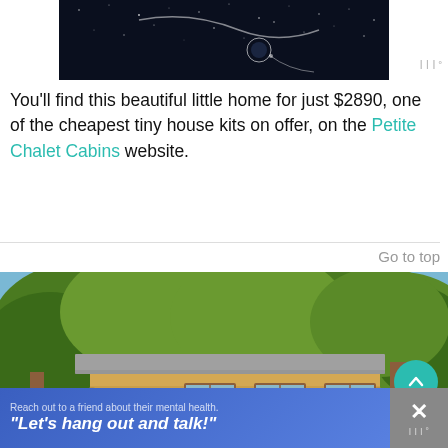[Figure (illustration): Dark night sky image with star/space illustration, cropped at top]
You’ll find this beautiful little home for just $2890, one of the cheapest tiny house kits on offer, on the Petite Chalet Cabins website.
Go to top
[Figure (photo): Photograph of a small log cabin/chalet with flat overhanging roof, surrounded by green trees]
[Figure (infographic): Blue advertisement banner reading 'Reach out to a friend about their mental health.' with text overlay 'Let’s hang out and talk!']